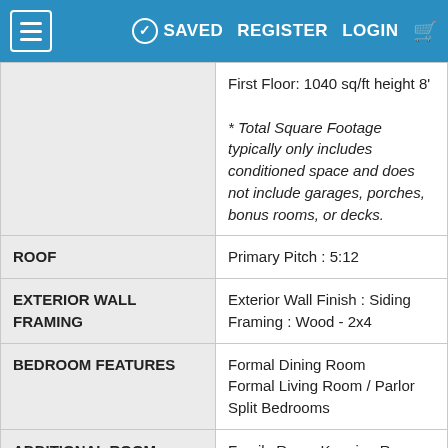SAVED  REGISTER  LOGIN
| Feature | Details |
| --- | --- |
|  | First Floor: 1040 sq/ft height 8'
* Total Square Footage typically only includes conditioned space and does not include garages, porches, bonus rooms, or decks. |
| ROOF | Primary Pitch : 5:12 |
| EXTERIOR WALL FRAMING | Exterior Wall Finish : Siding
Framing : Wood - 2x4 |
| BEDROOM FEATURES | Formal Dining Room
Formal Living Room / Parlor
Split Bedrooms |
| ADDITIONAL ROOM FEATURES | Family Room Keeping Room
Media Room |